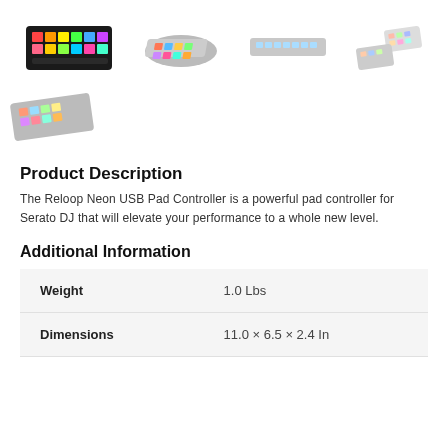[Figure (photo): Five product images of the Reloop Neon USB Pad Controller shown from different angles: front view with lit colorful pads, angled top view, side/top view, two controllers with cable, and angled front view from second row.]
Product Description
The Reloop Neon USB Pad Controller is a powerful pad controller for Serato DJ that will elevate your performance to a whole new level.
Additional Information
| Weight | 1.0 Lbs |
| Dimensions | 11.0 × 6.5 × 2.4 In |